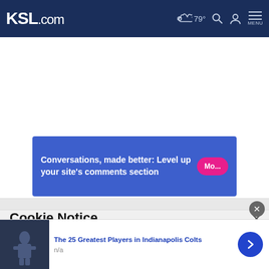KSL.com — 79° MENU
[Figure (screenshot): Advertisement banner: 'Conversations, made better: Level up your site's comments section' with a pink 'Mo...' button on blue background]
Cookie Notice
We use cookies to improve your experience, analyze site traffic, and to personalize content and ads. By continuing to use our site, you consent to our use of cookies. Please visit our Terms of Use and Privacy Policy for more information
The 25 Greatest Players in Indianapolis Colts
n/a